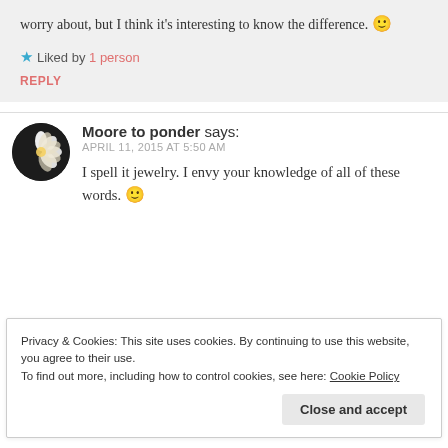worry about, but I think it's interesting to know the difference. 🙂
★ Liked by 1 person
REPLY
Moore to ponder says:
APRIL 11, 2015 AT 5:50 AM
I spell it jewelry. I envy your knowledge of all of these words. 🙂
Privacy & Cookies: This site uses cookies. By continuing to use this website, you agree to their use.
To find out more, including how to control cookies, see here: Cookie Policy
Close and accept